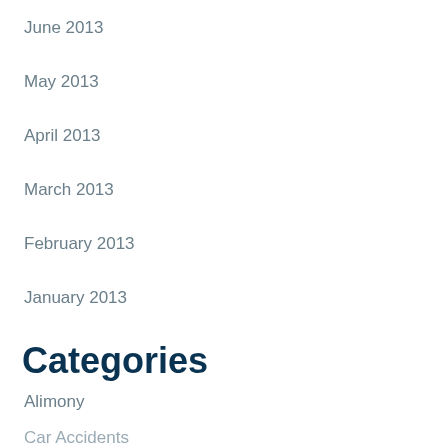June 2013
May 2013
April 2013
March 2013
February 2013
January 2013
Categories
Alimony
Car Accidents
Child Custody
Child Support